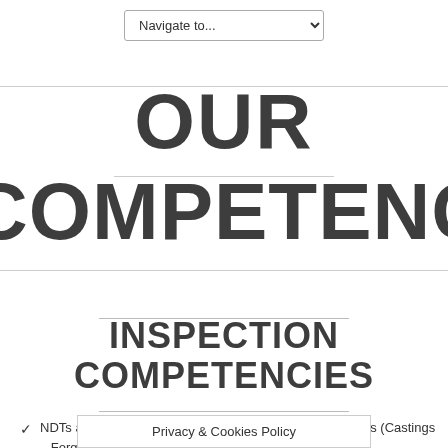Navigate to...
OUR COMPETENCIES
INSPECTION COMPETENCIES
NDTs and incoming materials inspections on row materials (Castings – Forgings – Invest Cast...
Privacy & Cookies Policy